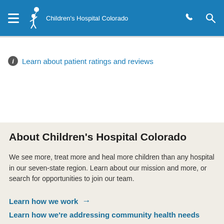Children's Hospital Colorado
Learn about patient ratings and reviews
About Children's Hospital Colorado
We see more, treat more and heal more children than any hospital in our seven-state region. Learn about our mission and more, or search for opportunities to join our team.
Learn how we work →
Learn how we're addressing community health needs →